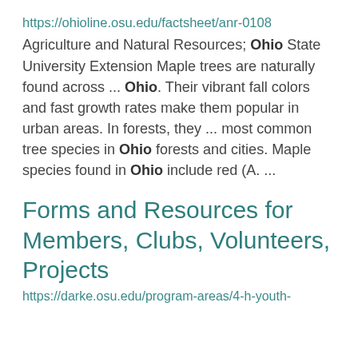https://ohioline.osu.edu/factsheet/anr-0108
Agriculture and Natural Resources; Ohio State University Extension Maple trees are naturally found across ... Ohio. Their vibrant fall colors and fast growth rates make them popular in urban areas. In forests, they ... most common tree species in Ohio forests and cities. Maple species found in Ohio include red (A. ...
Forms and Resources for Members, Clubs, Volunteers, Projects
https://darke.osu.edu/program-areas/4-h-youth-